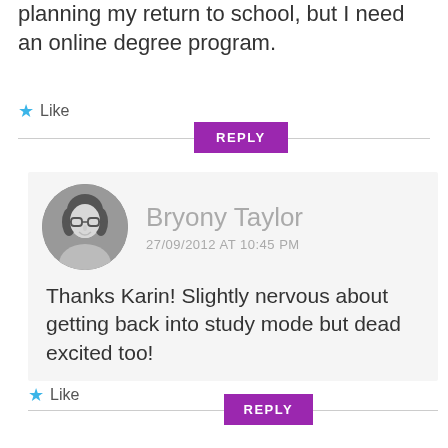planning my return to school, but I need an online degree program.
★ Like
REPLY
[Figure (photo): Black and white circular avatar photo of Bryony Taylor, a woman with glasses and dark hair, smiling]
Bryony Taylor
27/09/2012 AT 10:45 PM
Thanks Karin! Slightly nervous about getting back into study mode but dead excited too!
★ Like
REPLY